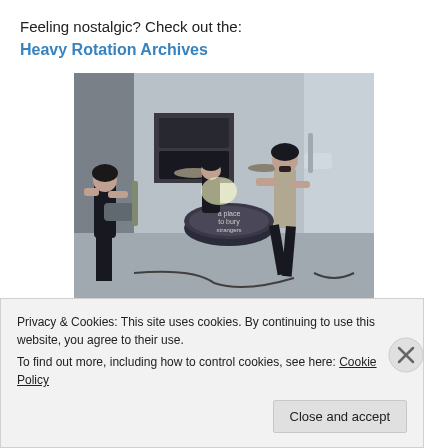Feeling nostalgic? Check out the:
Heavy Rotation Archives
[Figure (photo): A rock band with three members performing — left: guitarist in black t-shirt, center: drummer behind kit with 'a place to bury strangers' drum head, right: guitarist in open shirt playing electric guitar. Black and white/high contrast photo in a rehearsal space.]
Privacy & Cookies: This site uses cookies. By continuing to use this website, you agree to their use.
To find out more, including how to control cookies, see here: Cookie Policy
Close and accept